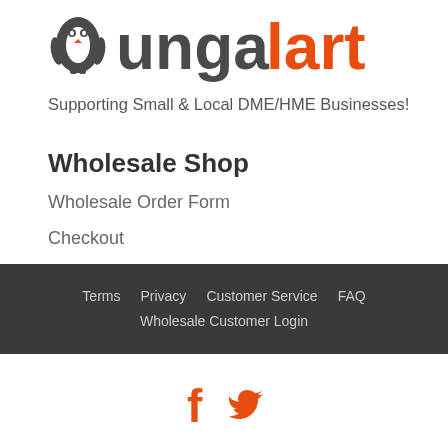[Figure (logo): ungalart logo with penguin icon, dark and orange text]
Supporting Small & Local DME/HME Businesses!
Wholesale Shop
Wholesale Order Form
Checkout
Cart
Terms  Privacy  Customer Service  FAQ  Wholesale Customer Login
[Figure (other): Facebook and Twitter social media icons in orange]